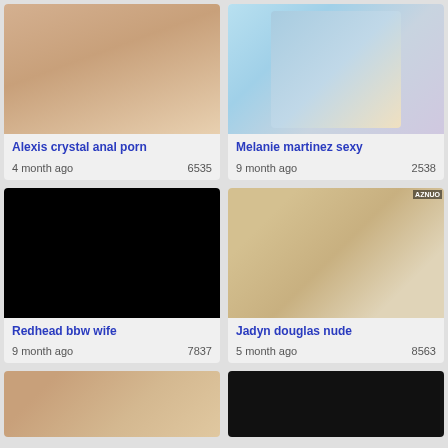[Figure (photo): Explicit adult content photo]
Alexis crystal anal porn
4 month ago   6535
[Figure (photo): Melanie Martinez clothing/outfit photo]
Melanie martinez sexy
9 month ago   2538
[Figure (photo): Black/blank image thumbnail]
Redhead bbw wife
9 month ago   7837
[Figure (photo): Scene with a blonde woman and a man in a hat in a colorful setting, AZNUO watermark]
Jadyn douglas nude
5 month ago   8563
[Figure (photo): Partial thumbnail of a person with curly hair]
[Figure (photo): Partial dark thumbnail]